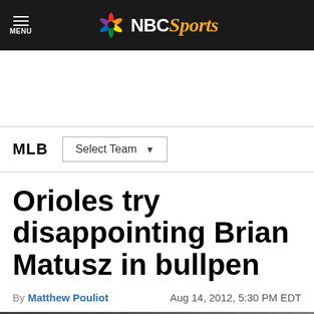NBC Sports
MLB  Select Team
Orioles try disappointing Brian Matusz in bullpen
By Matthew Pouliot   Aug 14, 2012, 5:30 PM EDT
[Figure (photo): Blurred background photo of a baseball player wearing an Orioles cap, partially visible at the bottom of the page]